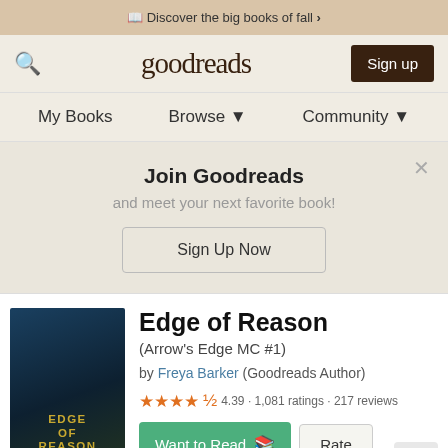Discover the big books of fall >
[Figure (screenshot): Goodreads navigation bar with search icon, logo, and Sign up button]
My Books  Browse ▼  Community ▼
Join Goodreads
and meet your next favorite book!
Sign Up Now
[Figure (illustration): Book cover for Edge of Reason by Freya Barker, dark moody cover with man's face]
Book details
Edge of Reason
(Arrow's Edge MC #1)
by Freya Barker (Goodreads Author)
★★★★½ 4.39 · 1,081 ratings · 217 reviews
Want to Read  Rate